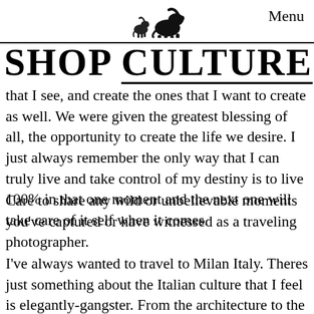Menu
[Figure (illustration): Two elephant silhouettes (small and large) side by side]
SHOP    CULTURE
that I see, and create the ones that I want to create as well. We were given the greatest blessing of all, the opportunity to create the life we desire. I just always remember the only way that I can truly live and take control of my destiny is to live 100% in that one moment and the next one will take care of it self when it comes.
Care to share any wild or unbelievable moments you've captured or have witnessed as a traveling photographer.
I've always wanted to travel to Milan Italy. Theres just something about the Italian culture that I feel is elegantly-gangster. From the architecture to the homemade bolognese pasta, and impeccable